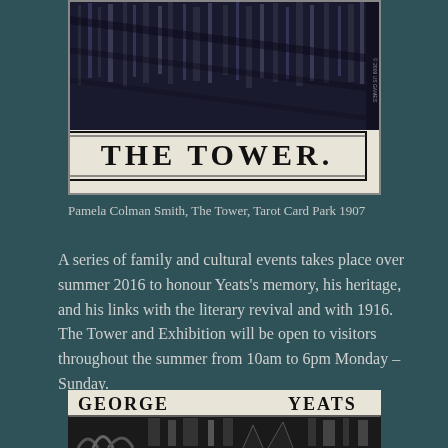[Figure (illustration): Black and white tarot card depicting 'THE TOWER.' with woodcut-style imagery at top, lightning striking a tower with figures falling, copyright 2009 US Games]
Pamela Colman Smith, The Tower, Tarot Card Park 1907
A series of family and cultural events takes place over summer 2016 to honour Yeats's memory, his heritage, and his links with the literary revival and with 1916. The Tower and Exhibition will be open to visitors throughout the summer from 10am to 6pm Monday – Sunday.
[Figure (illustration): Partial black and white image showing 'GEORGE YEATS' text with woodcut-style illustration below]